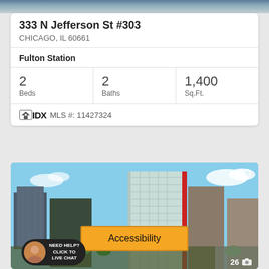333 N Jefferson St #303
CHICAGO, IL 60661
Fulton Station
| Beds | Baths | Sq.Ft. |
| --- | --- | --- |
| 2 | 2 | 1,400 |
MLS #: 11427324
[Figure (photo): Aerial/skyline photo of Chicago building at Fulton Station with cityscape background, glass office tower prominently in center, Accessibility overlay button, live chat widget at bottom left, photo count 26 at bottom right]